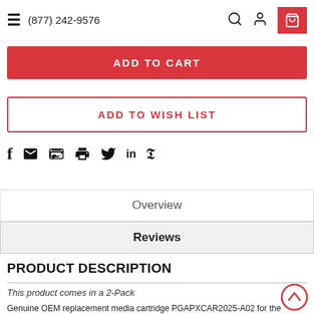≡  (877) 242-9576
ADD TO CART
ADD TO WISH LIST
[Figure (other): Social sharing icons: Facebook (f), email (envelope), print (printer), Twitter (bird), LinkedIn (in), Pinterest (P)]
Overview
Reviews
PRODUCT DESCRIPTION
This product comes in a 2-Pack
Genuine OEM replacement media cartridge PGAPXCAR2025-A02 for the Carrier Performance Series Germicidal Air Purifier PGAPXX2025, and the Carrier Evolution PGAPXX2025